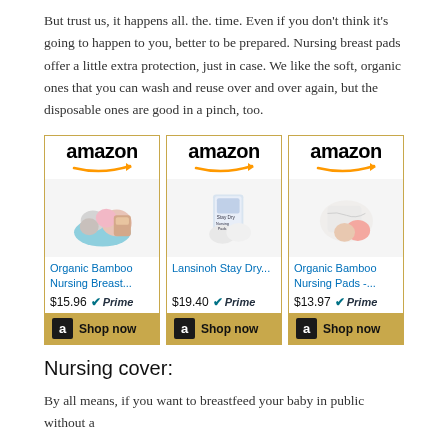But trust us, it happens all. the. time. Even if you don't think it's going to happen to you, better to be prepared. Nursing breast pads offer a little extra protection, just in case. We like the soft, organic ones that you can wash and reuse over and over again, but the disposable ones are good in a pinch, too.
[Figure (infographic): Three Amazon product cards for nursing breast pads: 1) Organic Bamboo Nursing Breast... $15.96 Prime, Shop now; 2) Lansinoh Stay Dry... $19.40 Prime, Shop now; 3) Organic Bamboo Nursing Pads -... $13.97 Prime, Shop now]
Nursing cover:
By all means, if you want to breastfeed your baby in public without a